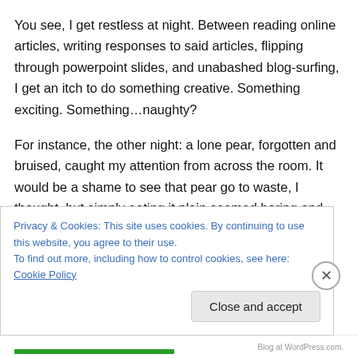You see, I get restless at night. Between reading online articles, writing responses to said articles, flipping through powerpoint slides, and unabashed blog-surfing, I get an itch to do something creative. Something exciting. Something…naughty?
For instance, the other night: a lone pear, forgotten and bruised, caught my attention from across the room. It would be a shame to see that pear go to waste, I thought, but simply eating it plain seemed boring and unappealing. Sautéeing the pear in a bit of butter and honey sounded
Privacy & Cookies: This site uses cookies. By continuing to use this website, you agree to their use.
To find out more, including how to control cookies, see here: Cookie Policy
Close and accept